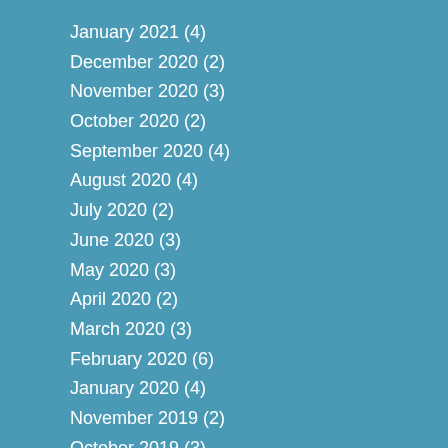January 2021 (4)
December 2020 (2)
November 2020 (3)
October 2020 (2)
September 2020 (4)
August 2020 (4)
July 2020 (2)
June 2020 (3)
May 2020 (3)
April 2020 (2)
March 2020 (3)
February 2020 (6)
January 2020 (4)
November 2019 (2)
October 2019 (3)